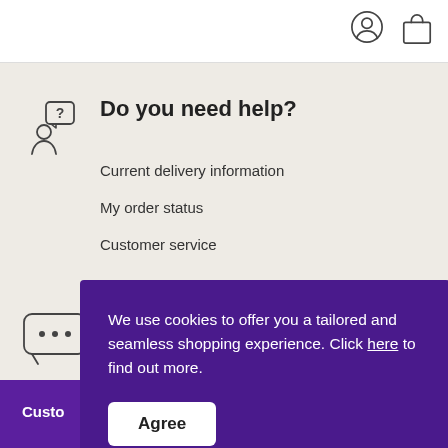[Figure (screenshot): User account icon (person with circle) in header]
[Figure (screenshot): Shopping bag/cart icon in header]
Do you need help?
Current delivery information
My order status
Customer service
[Figure (screenshot): Chat speech bubble icon with ellipsis]
We use cookies to offer you a tailored and seamless shopping experience. Click here to find out more.
Agree
Custo...mer
[Figure (screenshot): Scroll to top circle arrow button with plus sign]